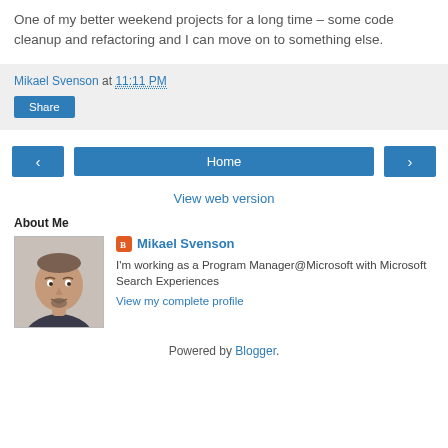One of my better weekend projects for a long time – some code cleanup and refactoring and I can move on to something else.
Mikael Svenson at 11:11 PM
Share
Home
View web version
About Me
[Figure (photo): Portrait photo of Mikael Svenson, a bald man with a goatee, smiling]
Mikael Svenson
I'm working as a Program Manager@Microsoft with Microsoft Search Experiences
View my complete profile
Powered by Blogger.